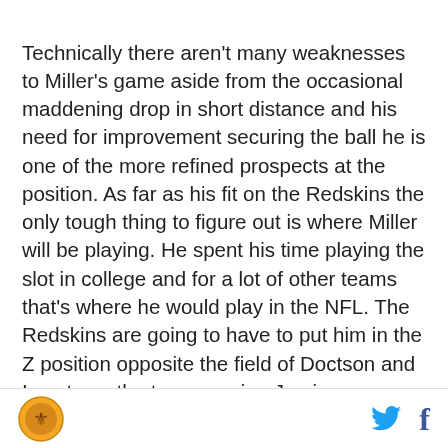Technically there aren't many weaknesses to Miller's game aside from the occasional maddening drop in short distance and his need for improvement securing the ball he is one of the more refined prospects at the position. As far as his fit on the Redskins the only tough thing to figure out is where Miller will be playing. He spent his time playing the slot in college and for a lot of other teams that's where he would play in the NFL. The Redskins are going to have to put him in the Z position opposite the field of Doctson and I cant see the team moving Jamison Crowder from his slot role except for on very special situations. If the move goes smoothly I can see Miller having an immediate impact that may not be typical for rookie WRs. I don't think he
[logo] [twitter] [facebook]